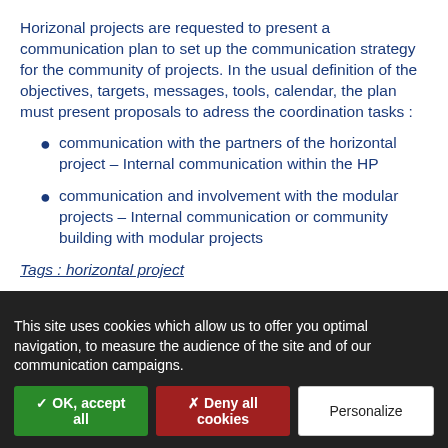Horizonal projects are requested to present a communication plan to set up the communication strategy for the community of projects. In the usual definition of the objectives, targets, messages, tools, calendar, the plan must present proposals to adress the coordination tasks :
communication with the partners of the horizontal project – Internal communication within the HP
communication and involvement with the modular projects – Internal communication or community building with modular projects
Tags : horizontal project
This site uses cookies which allow us to offer you optimal navigation, to measure the audience of the site and of our communication campaigns.